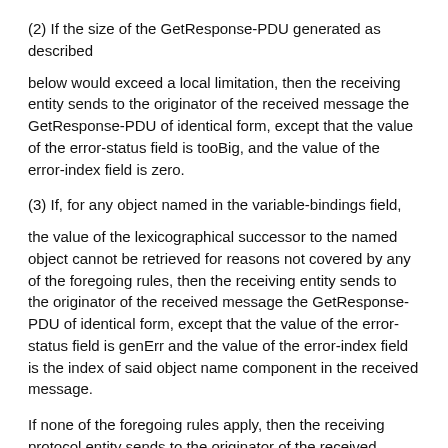(2) If the size of the GetResponse-PDU generated as described
below would exceed a local limitation, then the receiving entity sends to the originator of the received message the GetResponse-PDU of identical form, except that the value of the error-status field is tooBig, and the value of the error-index field is zero.
(3) If, for any object named in the variable-bindings field,
the value of the lexicographical successor to the named object cannot be retrieved for reasons not covered by any of the foregoing rules, then the receiving entity sends to the originator of the received message the GetResponse-PDU of identical form, except that the value of the error-status field is genErr and the value of the error-index field is the index of said object name component in the received message.
If none of the foregoing rules apply, then the receiving protocol entity sends to the originator of the received message the GetResponse-PDU such that, for each name in